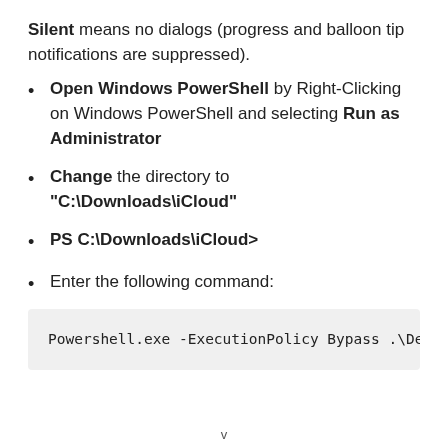Silent means no dialogs (progress and balloon tip notifications are suppressed).
Open Windows PowerShell by Right-Clicking on Windows PowerShell and selecting Run as Administrator
Change the directory to "C:\Downloads\iCloud"
PS C:\Downloads\iCloud>
Enter the following command:
Powershell.exe -ExecutionPolicy Bypass .\De